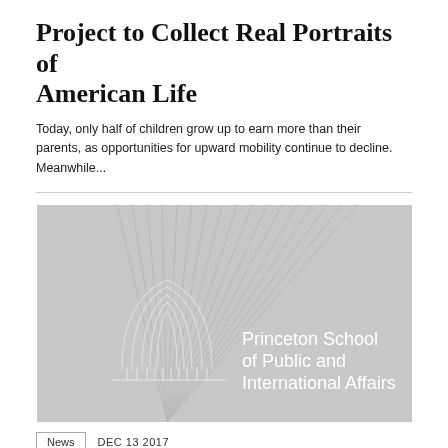Project to Collect Real Portraits of American Life
Today, only half of children grow up to earn more than their parents, as opportunities for upward mobility continue to decline. Meanwhile...
[Figure (logo): Princeton School of Public and International Affairs logo on a light gray background with decorative arch columns graphic]
News   DEC 13 2017